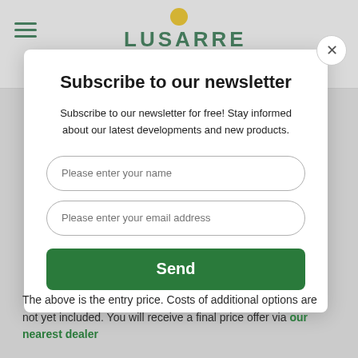Subscribe to our newsletter
Subscribe to our newsletter for free! Stay informed about our latest developments and new products.
Please enter your name
Please enter your email address
Send
The above is the entry price. Costs of additional options are not yet included. You will receive a final price offer via our nearest dealer